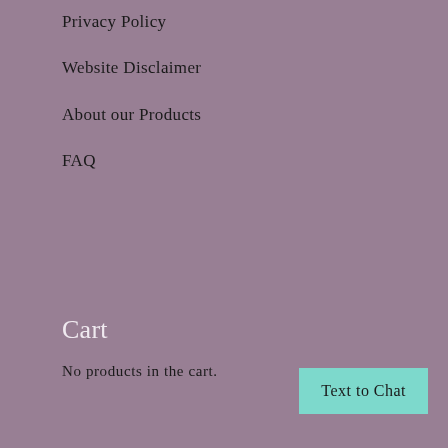Privacy Policy
Website Disclaimer
About our Products
FAQ
Cart
No products in the cart.
Text to Chat